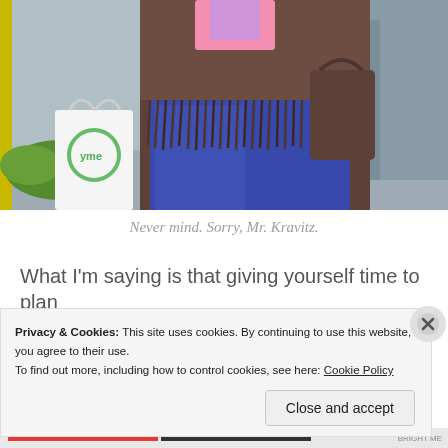[Figure (photo): A person wearing a brown fringed shawl/cardigan and jeans, holding a white shopping bag with a green circular logo, walking on a sidewalk.]
Never mind. Sorry, Mr. Kravitz.
What I'm saying is that giving yourself time to plan
Privacy & Cookies: This site uses cookies. By continuing to use this website, you agree to their use.
To find out more, including how to control cookies, see here: Cookie Policy
Close and accept